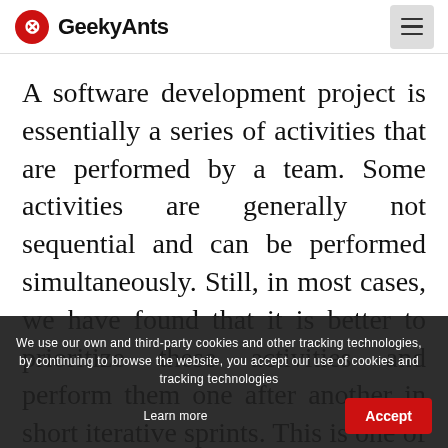GeekyAnts
A software development project is essentially a series of activities that are performed by a team. Some activities are generally not sequential and can be performed simultaneously. Still, in most cases, we have found that it is better to prioritize these activities and perform them one after another in short iterative sprints. This is one of the reasons why our project m... project life... helped us to not only manage the project better but also push out deliverables that are of better
We use our own and third-party cookies and other tracking technologies, by continuing to browse the website, you accept our use of cookies and tracking technologies
Learn more
Accept